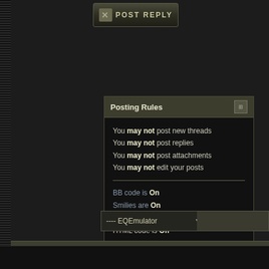[Figure (screenshot): Post Reply button at top with X icon]
Posting Rules
You may not post new threads
You may not post replies
You may not post attachments
You may not edit your posts
BB code is On
Smilies are On
[IMG] code is On
HTML code is Off
Forum Rules
---- EQEmulator